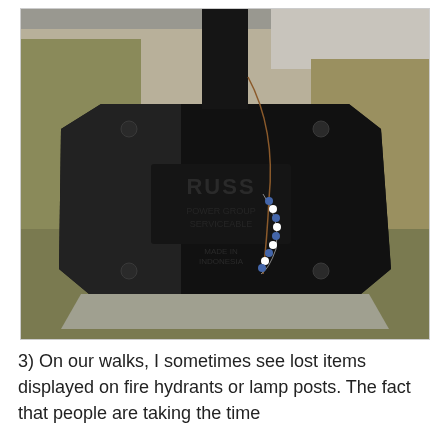[Figure (photo): A black metal lamp post base/pedestal on a grassy area, with a beaded bracelet or necklace hanging from a wire on the post. The base is a heavy octagonal black metal structure with embossed text/logo, sitting on a concrete pad. The background shows dry grass and a sidewalk.]
3) On our walks, I sometimes see lost items displayed on fire hydrants or lamp posts. The fact that people are taking the time